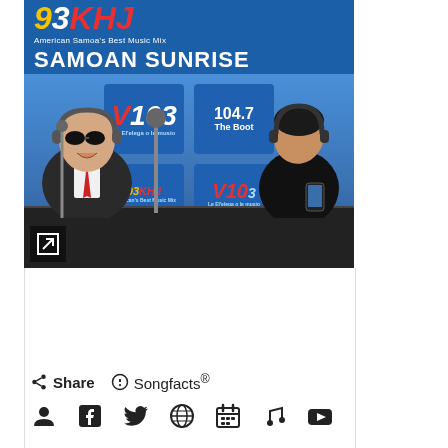[Figure (photo): 93KHJ radio station photo with two people in a studio. Top banner shows '93KHJ American Samoa's Best Music Mix - SAMOAN SUNRISE' in white/yellow/red text on blue background. Studio shows radio station boards for V103, 104.7 The Boot, 93KHJ. Two people seated at desk with microphones, one older man with sunglasses and red tie on left, one younger person on right. Expand icon in bottom-left corner.]
Share   Songfacts®